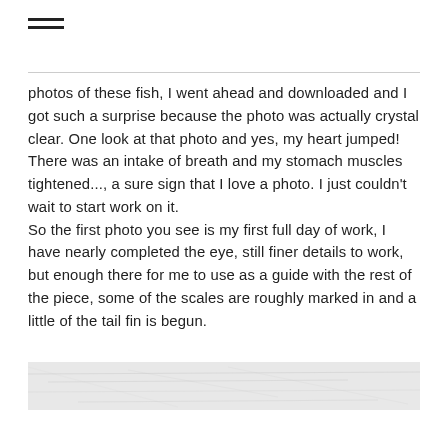≡
photos of these fish, I went ahead and downloaded and I got such a surprise because the photo was actually crystal clear. One look at that photo and yes, my heart jumped! There was an intake of breath and my stomach muscles tightened..., a sure sign that I love a photo. I just couldn't wait to start work on it.
So the first photo you see is my first full day of work, I have nearly completed the eye, still finer details to work, but enough there for me to use as a guide with the rest of the piece, some of the scales are roughly marked in and a little of the tail fin is begun.
[Figure (photo): Partial top edge of a fish artwork or photo, showing light grey textured surface, barely visible at the bottom of the page.]